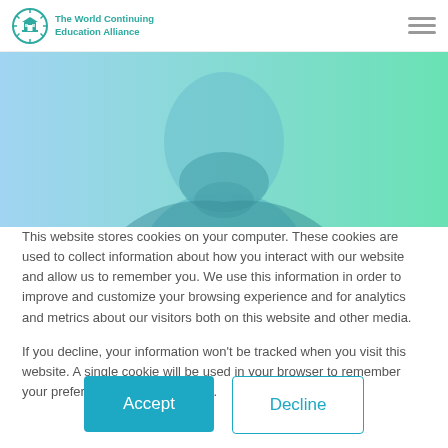The World Continuing Education Alliance
[Figure (photo): Close-up photo of a bearded man from chin to chest, with a blue-to-teal gradient color overlay on the image, as a website hero banner.]
This website stores cookies on your computer. These cookies are used to collect information about how you interact with our website and allow us to remember you. We use this information in order to improve and customize your browsing experience and for analytics and metrics about our visitors both on this website and other media.
If you decline, your information won't be tracked when you visit this website. A single cookie will be used in your browser to remember your preference not to be tracked.
Accept
Decline